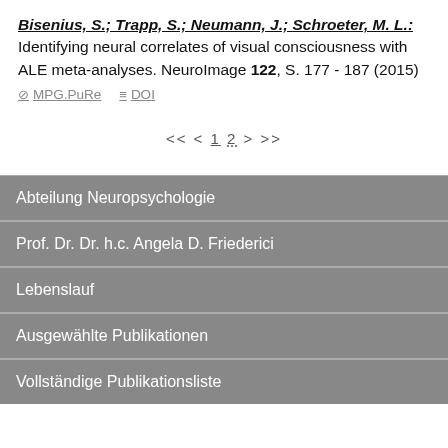Bisenius, S.; Trapp, S.; Neumann, J.; Schroeter, M. L.: Identifying neural correlates of visual consciousness with ALE meta-analyses. NeuroImage 122, S. 177 - 187 (2015)
MPG.PuRe   DOI
<< < 1 2 > >>
Abteilung Neuropsychologie
Prof. Dr. Dr. h.c. Angela D. Friederici
Lebenslauf
Ausgewählte Publikationen
Vollständige Publikationsliste